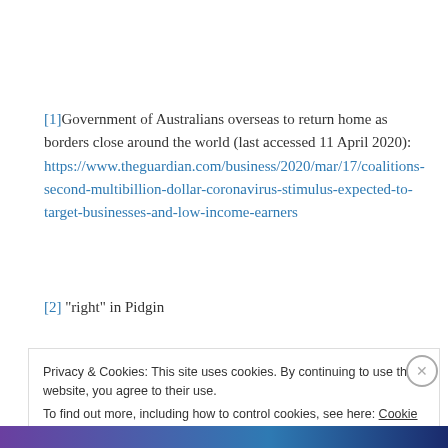[1] Government of Australians overseas to return home as borders close around the world (last accessed 11 April 2020): https://www.theguardian.com/business/2020/mar/17/coalitions-second-multibillion-dollar-coronavirus-stimulus-expected-to-target-businesses-and-low-income-earners
[2] “right” in Pidgin
Privacy & Cookies: This site uses cookies. By continuing to use this website, you agree to their use.
To find out more, including how to control cookies, see here: Cookie Policy
Close and accept